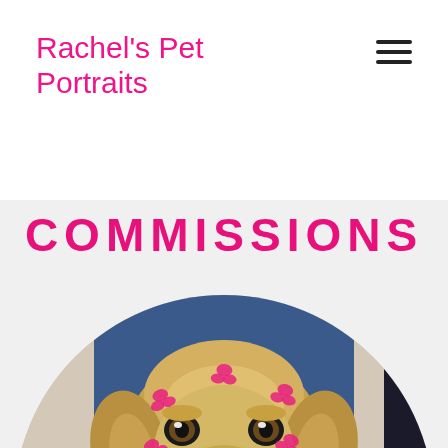Rachel's Pet Portraits
COMMISSIONS
[Figure (photo): Circular cropped photograph showing a golden retriever dog portrait painting on a blue background displayed in a gallery, with lipstick kiss marks on the dog's face; a person and other artworks partially visible in the foreground.]